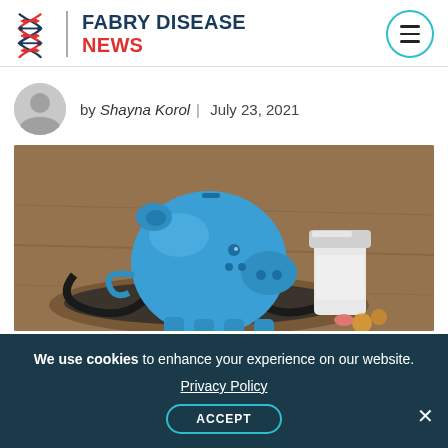FABRY DISEASE NEWS
by Shayna Korol | July 23, 2021
[Figure (photo): Blue ceramic piggy bank sitting on a stethoscope with a white medicine bottle behind it on a wooden surface]
We use cookies to enhance your experience on our website. Privacy Policy ACCEPT